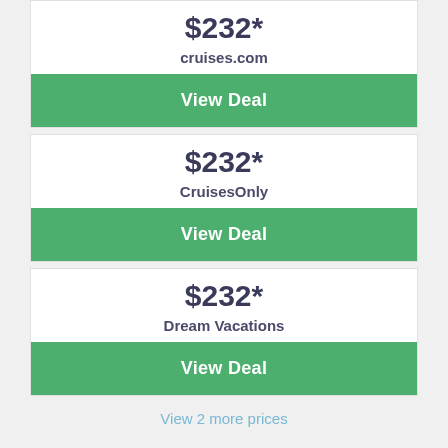$232* cruises.com
View Deal
$232* CruisesOnly
View Deal
$232* Dream Vacations
View Deal
View 2 more prices